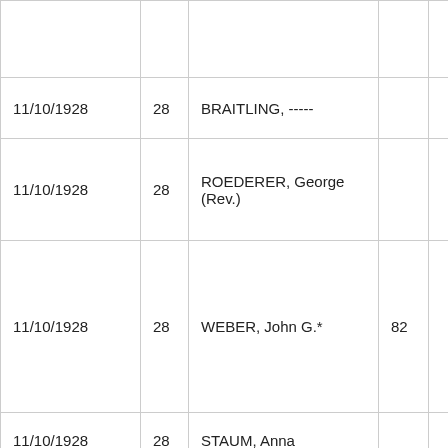|  |  |  |  |  |
| 11/10/1928 | 28 | BRAITLING, ----- |  |  |
| 11/10/1928 | 28 | ROEDERER, George (Rev.) |  |  |
| 11/10/1928 | 28 | WEBER, John G.* | 82 |  |
| 11/10/1928 | 28 | STAUM, Anna |  |  |
| 11/10/1928 | 28 | WEBER, Anna |  |  |
|  |  |  |  |  |